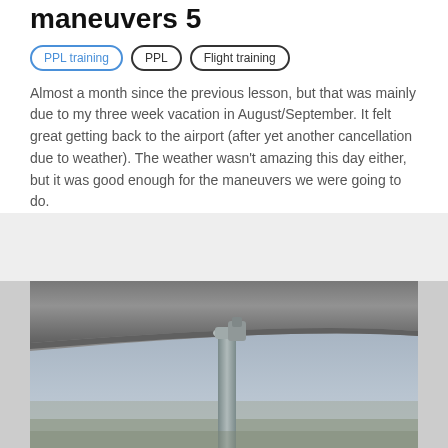maneuvers 5
PPL training
PPL
Flight training
Almost a month since the previous lesson, but that was mainly due to my three week vacation in August/September. It felt great getting back to the airport (after yet another cancellation due to weather). The weather wasn't amazing this day either, but it was good enough for the maneuvers we were going to do.
[Figure (photo): View from inside a small aircraft looking out at the underside of the wing strut and wing, with hazy landscape visible below]